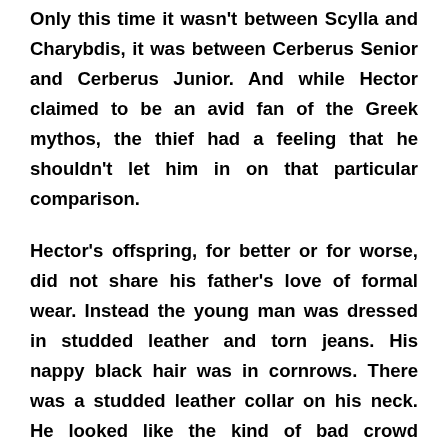Only this time it wasn't between Scylla and Charybdis, it was between Cerberus Senior and Cerberus Junior. And while Hector claimed to be an avid fan of the Greek mythos, the thief had a feeling that he shouldn't let him in on that particular comparison.
Hector's offspring, for better or for worse, did not share his father's love of formal wear. Instead the young man was dressed in studded leather and torn jeans. His nappy black hair was in cornrows. There was a studded leather collar on his neck. He looked like the kind of bad crowd mothers warned their kids to keep away from when sending them to college. Wyatt wished he could do just that.